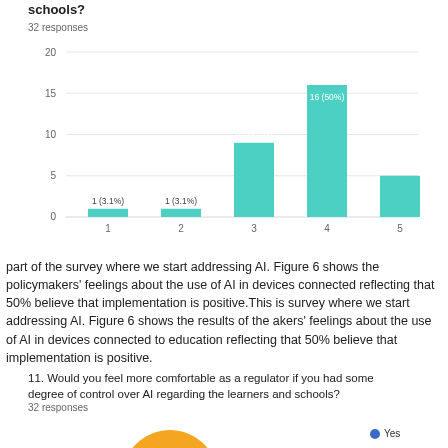schools?
32 responses
[Figure (bar-chart): ]
part of the survey where we start addressing AI. Figure 6 shows the policymakers' feelings about the use of AI in devices connected reflecting that 50% believe that implementation is positive. This is part of the survey where we start addressing AI. Figure 6 shows the results of the policymakers' feelings about the use of AI in devices connected to education reflecting that 50% believe that implementation is positive.
11. Would you feel more comfortable as a regulator if you had some degree of control over AI regarding the learners and schools?
32 responses